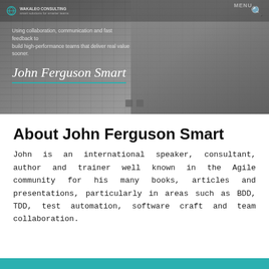[Figure (photo): Hero banner with grayscale photo of John Ferguson Smart speaking, with tagline text and signature overlay on a dark background]
About John Ferguson Smart
John is an international speaker, consultant, author and trainer well known in the Agile community for his many books, articles and presentations, particularly in areas such as BDD, TDD, test automation, software craft and team collaboration.